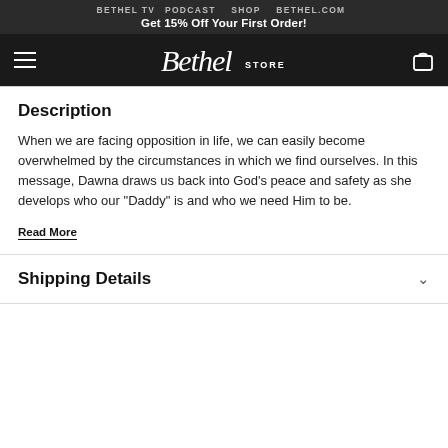BETHEL TV   PODCAST   SHOP   BETHEL.COM
Get 15% Off Your First Order!
[Figure (logo): Bethel Store logo in white script text on dark background with hamburger menu and cart icon]
Description
When we are facing opposition in life, we can easily become overwhelmed by the circumstances in which we find ourselves. In this message, Dawna draws us back into God's peace and safety as she develops who our "Daddy" is and who we need Him to be.
Read More
Shipping Details